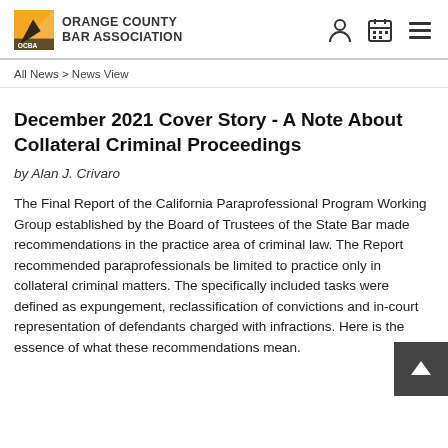ORANGE COUNTY BAR ASSOCIATION
All News > News View
December 2021 Cover Story - A Note About Collateral Criminal Proceedings
by Alan J. Crivaro
The Final Report of the California Paraprofessional Program Working Group established by the Board of Trustees of the State Bar made recommendations in the practice area of criminal law. The Report recommended paraprofessionals be limited to practice only in collateral criminal matters. The specifically included tasks were defined as expungement, reclassification of convictions and in-court representation of defendants charged with infractions. Here is the essence of what these recommendations mean.